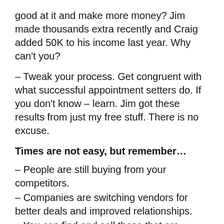good at it and make more money? Jim made thousands extra recently and Craig added 50K to his income last year. Why can't you?
– Tweak your process. Get congruent with what successful appointment setters do. If you don't know – learn. Jim got these results from just my free stuff. There is no excuse.
Times are not easy, but remember…
– People are still buying from your competitors.
– Companies are switching vendors for better deals and improved relationships.
– You can find and sell those that are buying.
– You can take advantage of the “client churn” in this economy.
– If you are calling unqualified targets, unorganized and not working a total system, you need to get the basics